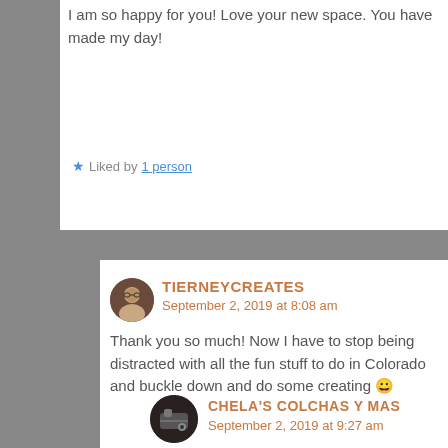I am so happy for you! Love your new space. You have made my day!
Liked by 1 person
TIERNEYCREATES
September 2, 2019 at 8:08 am
Thank you so much! Now I have to stop being distracted with all the fun stuff to do in Colorado and buckle down and do some creating 😀
Liked by 1 person
CHELA'S COLCHAS Y MAS
September 2, 2019 at 9:27 am